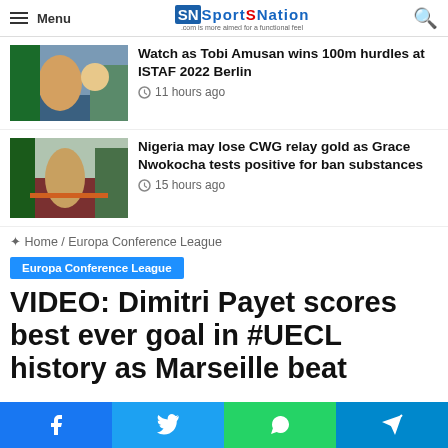Menu | SportSNation
Watch as Tobi Amusan wins 100m hurdles at ISTAF 2022 Berlin
11 hours ago
Nigeria may lose CWG relay gold as Grace Nwokocha tests positive for ban substances
15 hours ago
Home / Europa Conference League
Europa Conference League
VIDEO: Dimitri Payet scores best ever goal in #UECL history as Marseille beat